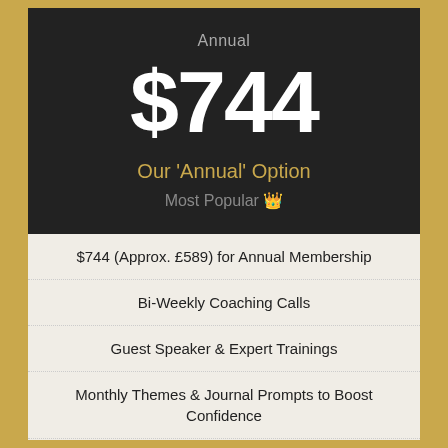Annual
$744
Our 'Annual' Option
Most Popular 👑
$744 (Approx. £589) for Annual Membership
Bi-Weekly Coaching Calls
Guest Speaker & Expert Trainings
Monthly Themes & Journal Prompts to Boost Confidence
VIP Facebook Group & 24/7 Access on Discord